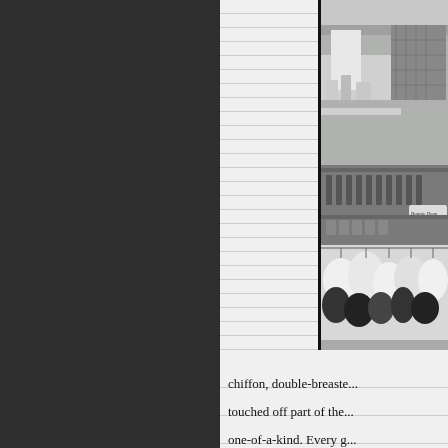[Figure (photo): Black and white photograph of a retail store interior, showing store counters with merchandise, shelving with products, and garments/clothing items displayed in the lower section. A person in a plaid shirt is visible behind the counter.]
chiffon, double-breaste... touched off part of the... one-of-a-kind. Every g...